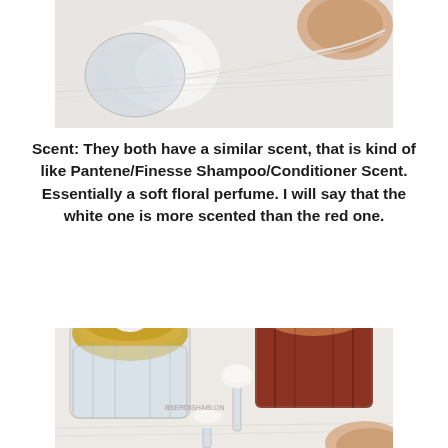[Figure (photo): Close-up photo of cream product being pulled into strings using a spatula, showing product texture on a white background]
Scent: They both have a similar scent, that is kind of like Pantene/Finesse Shampoo/Conditioner Scent. Essentially a soft floral perfume. I will say that the white one is more scented than the red one.
[Figure (photo): Photo of two skincare cream jars (one white/clear with gold lid, one dark red/burgundy with rose gold lid) with spatulas showing cream swatches and the stringy texture of the product]